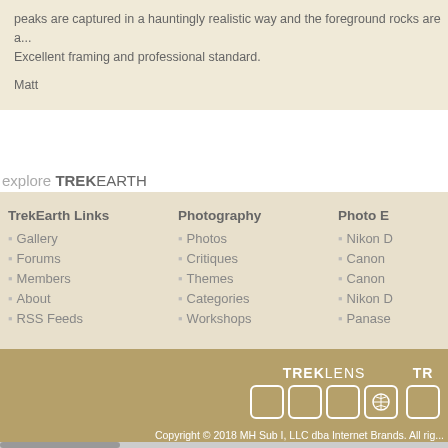peaks are captured in a hauntingly realistic way and the foreground rocks are a... Excellent framing and professional standard.
Matt
explore TREKEARTH
Gallery
Forums
Members
About
RSS Feeds
Photos
Critiques
Themes
Categories
Workshops
Nikon D...
Canon...
Canon...
Nikon D...
Panase...
Copyright © 2018 MH Sub I, LLC dba Internet Brands. All rights reserved. Advertise | Privacy Po...